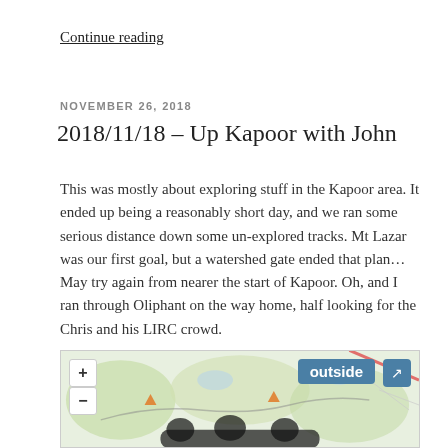Continue reading
NOVEMBER 26, 2018
2018/11/18 – Up Kapoor with John
This was mostly about exploring stuff in the Kapoor area. It ended up being a reasonably short day, and we ran some serious distance down some un-explored tracks. Mt Lazar was our first goal, but a watershed gate ended that plan… May try again from nearer the start of Kapoor. Oh, and I ran through Oliphant on the way home, half looking for the Chris and his LIRC crowd.
[Figure (map): Interactive map showing Kapoor area with zoom controls (+/-), an 'outside' button, a fullscreen button, terrain/greenery map tiles, orange triangle markers, and a route overlay with dark silhouettes at the bottom.]